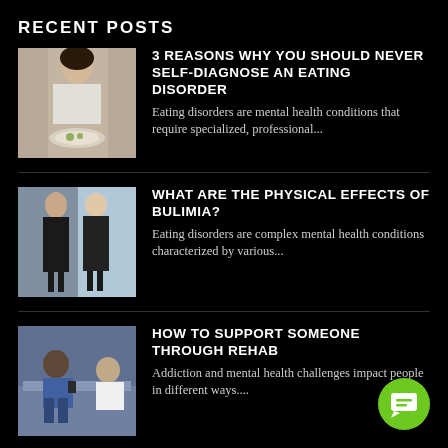RECENT POSTS
[Figure (photo): Woman in white sleeveless top looking at a plate of food]
3 REASONS WHY YOU SHOULD NEVER SELF-DIAGNOSE AN EATING DISORDER
Eating disorders are mental health conditions that require specialized, professional...
[Figure (photo): Two women in black outfits standing back to back]
WHAT ARE THE PHYSICAL EFFECTS OF BULIMIA?
Eating disorders are complex mental health conditions characterized by various...
[Figure (photo): Person sitting with another person in a counseling or support setting]
HOW TO SUPPORT SOMEONE THROUGH REHAB
Addiction and mental health challenges impact people in different ways....